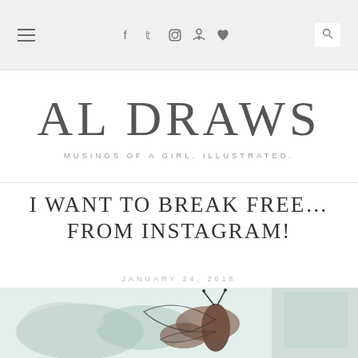Navigation bar with hamburger menu, social icons (f, twitter, instagram, pinterest, heart), and search icon
AL DRAWS
MUSINGS OF A GIRL. ILLUSTRATED.
I WANT TO BREAK FREE… FROM INSTAGRAM!
JANUARY 24, 2018
[Figure (illustration): Illustrated butterfly/insect drawing with watercolor washes in teal and brown tones]